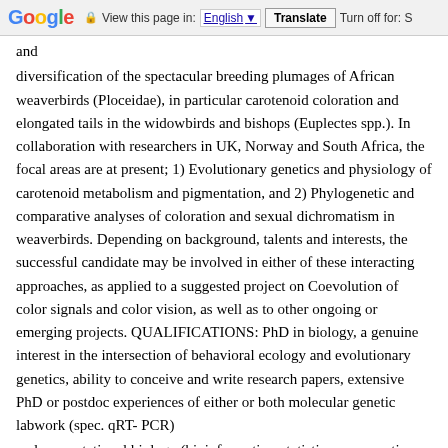Google | View this page in: English | Translate | Turn off for: S
and

diversification of the spectacular breeding plumages of African weaverbirds (Ploceidae), in particular carotenoid coloration and elongated tails in the widowbirds and bishops (Euplectes spp.). In collaboration with researchers in UK, Norway and South Africa, the focal areas are at present; 1) Evolutionary genetics and physiology of carotenoid metabolism and pigmentation, and 2) Phylogenetic and comparative analyses of coloration and sexual dichromatism in weaverbirds. Depending on background, talents and interests, the successful candidate may be involved in either of these interacting approaches, as applied to a suggested project on Coevolution of color signals and color vision, as well as to other ongoing or emerging projects. QUALIFICATIONS: PhD in biology, a genuine interest in the intersection of behavioral ecology and evolutionary genetics, ability to conceive and write research papers, extensive PhD or postdoc experiences of either or both molecular genetic labwork (spec. qRT-PCR)

and computational biology (bioinformatics, statistics, comparative methods). A background in biochemistry (spec. HPLC and LC-MS) is